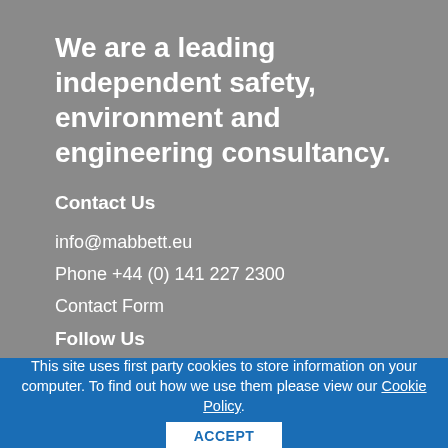We are a leading independent safety, environment and engineering consultancy.
Contact Us
info@mabbett.eu
Phone +44 (0) 141 227 2300
Contact Form
Follow Us
This site uses first party cookies to store information on your computer. To find out how we use them please view our Cookie Policy.